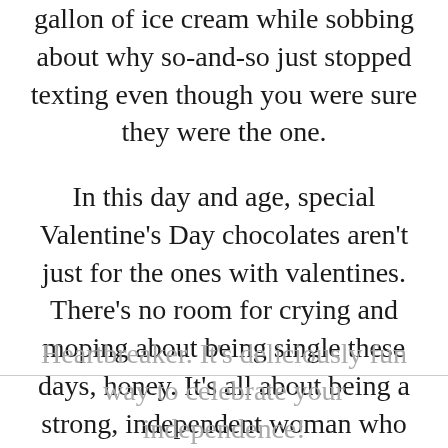gallon of ice cream while sobbing about why so-and-so just stopped texting even though you were sure they were the one.
In this day and age, special Valentine's Day chocolates aren't just for the ones with valentines. There's no room for crying and moping about being single these days, honey. It's all about being a strong, independent woman who won't compromise for anyone less. And let's face it: dating nowadays has become more complicated than it used to be. So just take out your frustrations on Sam's Choice
Heartbreaker. It's deliciously fun way to celebrate your independence!